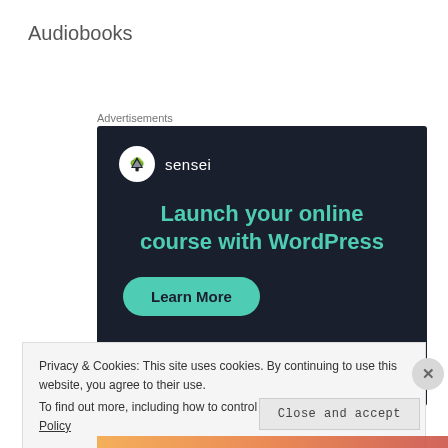Audiobooks
Advertisements
[Figure (infographic): Sensei advertisement banner with dark background. Shows Sensei logo (tree icon in white circle) and text 'Launch your online course with WordPress' in teal, with a 'Learn More' teal button.]
Privacy & Cookies: This site uses cookies. By continuing to use this website, you agree to their use.
To find out more, including how to control cookies, see here: Cookie Policy
Close and accept